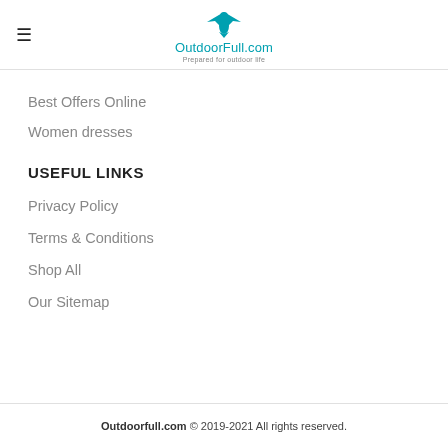OutdoorFull.com — Prepared for outdoor life
Best Offers Online
Women dresses
USEFUL LINKS
Privacy Policy
Terms & Conditions
Shop All
Our Sitemap
Outdoorfull.com © 2019-2021 All rights reserved.